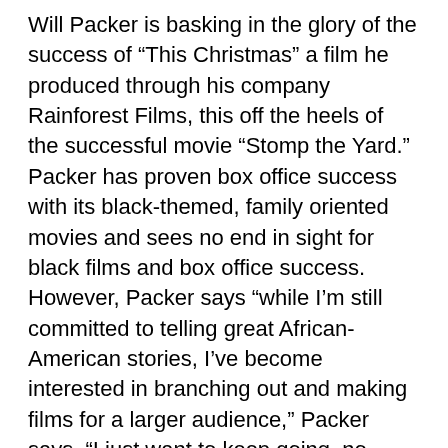Will Packer is basking in the glory of the success of “This Christmas” a film he produced through his company Rainforest Films, this off the heels of the successful movie “Stomp the Yard.” Packer has proven box office success with its black-themed, family oriented movies and sees no end in sight for black films and box office success. However, Packer says “while I’m still committed to telling great African-American stories, I’ve become interested in branching out and making films for a larger audience,” Packer says, “I just want to keep going, no matter what.” Roger Bobb is Supervising Producer of “Tyler Perry’s House of Payne,” which is an extremely successful network syndicated show. Bobb also produced such films as “Diary of a Mad Black